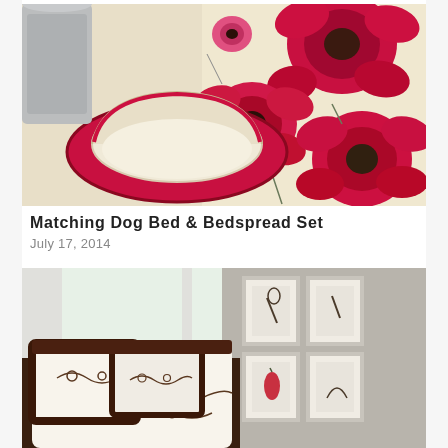[Figure (photo): Matching dog bed and floral bedspread set. A small oval pet bed with cream interior and red/pink floral fabric exterior sits on the floor. Behind it, a large floral bedspread/blanket with bold red and pink flowers on a cream background is draped and spread out. The pattern matches between the dog bed and the bedspread.]
Matching Dog Bed & Bedspread Set
July 17, 2014
[Figure (photo): A bedroom scene featuring an elegant white and chocolate brown bedding set. The bed has two large European shams and standard pillows with dark brown borders. The comforter/duvet features embroidered floral vine patterns in brown on a cream/white background. In the background, framed botanical art prints hang on a gray wall, and a white lamp and flowers are visible on a nightstand.]